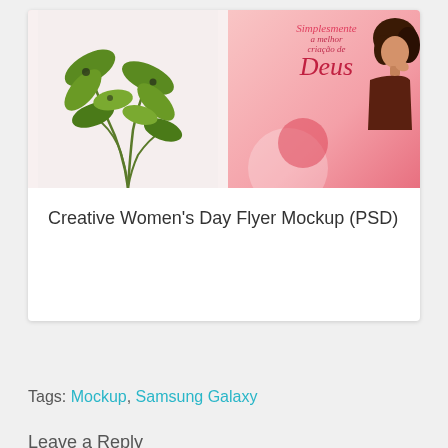[Figure (illustration): A card with two-panel image: left panel shows green plant leaves on light background, right panel shows pink/red background with cursive Portuguese text 'Simplesmente a melhor criação de Deus' and a woman with curly hair in a leather jacket]
Creative Women's Day Flyer Mockup (PSD)
Tags: Mockup,  Samsung Galaxy
Leave a Reply